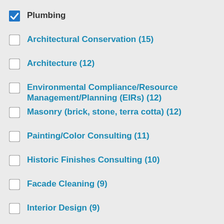Plumbing
Architectural Conservation (15)
Architecture (12)
Environmental Compliance/Resource Management/Planning (EIRs) (12)
Masonry (brick, stone, terra cotta) (12)
Painting/Color Consulting (11)
Historic Finishes Consulting (10)
Facade Cleaning (9)
Interior Design (9)
Show more